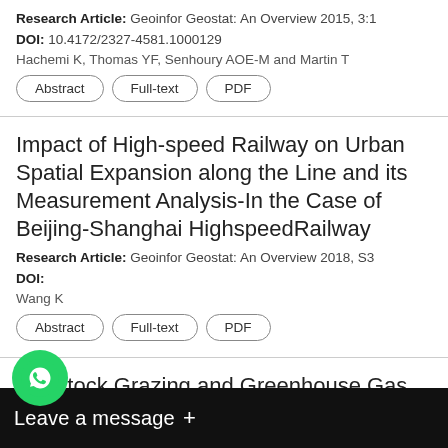Research Article: Geoinfor Geostat: An Overview 2015, 3:1
DOI: 10.4172/2327-4581.1000129
Hachemi K, Thomas YF, Senhoury AOE-M and Martin T
Impact of High-speed Railway on Urban Spatial Expansion along the Line and its Measurement Analysis-In the Case of Beijing-Shanghai HighspeedRailway
Research Article: Geoinfor Geostat: An Overview 2018, S3
DOI:
Wang K
Livestock Grazing and Greenhouse Gas Emission in Tibet
Communication: Geoinfor Geostat: An Overview 2016,
DOI:
Wu J